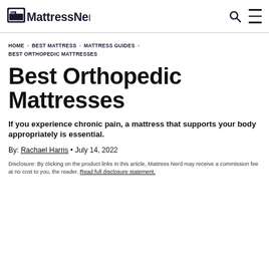Mattress Nerd
HOME › BEST MATTRESS › MATTRESS GUIDES › BEST ORTHOPEDIC MATTRESSES
Best Orthopedic Mattresses
If you experience chronic pain, a mattress that supports your body appropriately is essential.
By: Rachael Harris • July 14, 2022
Disclosure: By clicking on the product links in this article, Mattress Nerd may receive a commission fee at no cost to you, the reader. Read full disclosure statement.